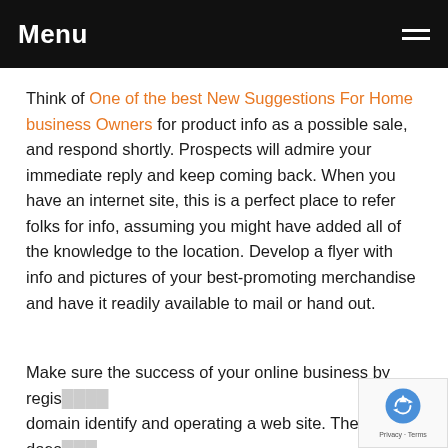Menu
Think of One of the best New Suggestions For Home business Owners for product info as a possible sale, and respond shortly. Prospects will admire your immediate reply and keep coming back. When you have an internet site, this is a perfect place to refer folks for info, assuming you might have added all of the knowledge to the location. Develop a flyer with info and pictures of your best-promoting merchandise and have it readily available to mail or hand out.
Make sure the success of your online business by regis domain identify and operating a web site. The site does must be fancy, but it ought to be simple to navigate. If you can